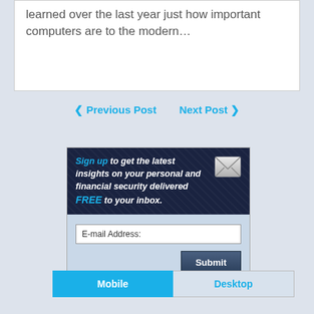learned over the last year just how important computers are to the modern…
❮ Previous Post   Next Post ❯
[Figure (infographic): Email newsletter sign-up box with dark navy header reading 'Sign up to get the latest insights on your personal and financial security delivered FREE to your inbox.' with an envelope icon, and a light blue form area with an E-mail Address input field and a Submit button.]
Mobile   Desktop